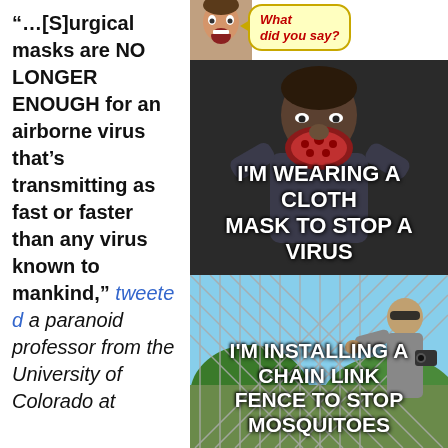“…[S]urgical masks are NO LONGER ENOUGH for an airborne virus that’s transmitting as fast or faster than any virus known to mankind,” tweeted a paranoid professor from the University of Colorado at
[Figure (photo): Meme image showing a man wearing a decorative cloth mask with text 'I’M WEARING A CLOTH MASK TO STOP A VIRUS', and below it a man installing a chain link fence with text 'I’M INSTALLING A CHAIN LINK FENCE TO STOP MOSQUITOES'. At top right is a cartoon face with speech bubble saying 'What did you say?']